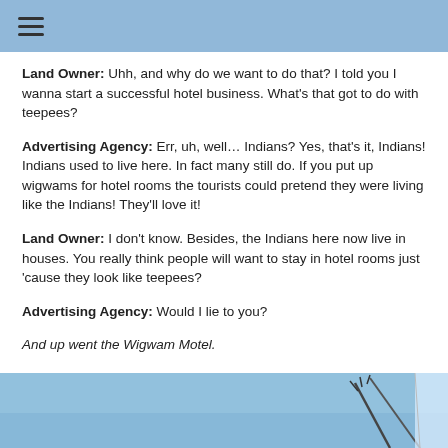☰
Land Owner: Uhh, and why do we want to do that? I told you I wanna start a successful hotel business. What's that got to do with teepees?
Advertising Agency: Err, uh, well… Indians? Yes, that's it, Indians! Indians used to live here. In fact many still do. If you put up wigwams for hotel rooms the tourists could pretend they were living like the Indians! They'll love it!
Land Owner: I don't know. Besides, the Indians here now live in houses. You really think people will want to stay in hotel rooms just 'cause they look like teepees?
Advertising Agency: Would I lie to you?
And up went the Wigwam Motel.
[Figure (photo): Bottom portion of a photo showing a blue sky with what appears to be the tip of a wigwam/teepee structure]